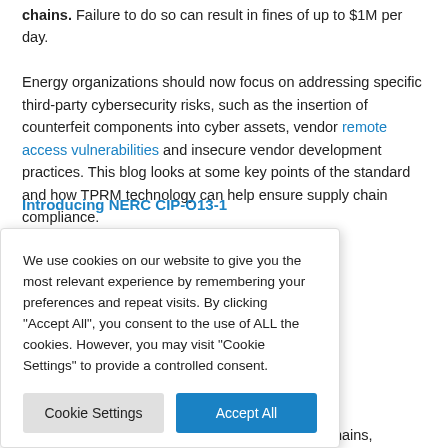chains. Failure to do so can result in fines of up to $1M per day. Energy organizations should now focus on addressing specific third-party cybersecurity risks, such as the insertion of counterfeit components into cyber assets, vendor remote access vulnerabilities and insecure vendor development practices. This blog looks at some key points of the standard and how TPRM technology can help ensure supply chain compliance.
Introducing NERC CIP-O13-1
ucture Protection requirements eration of the global cyber updated and an Electric e Federal Energy 18. have to comply y against an increasing number of attacks that target supply chains,
We use cookies on our website to give you the most relevant experience by remembering your preferences and repeat visits. By clicking "Accept All", you consent to the use of ALL the cookies. However, you may visit "Cookie Settings" to provide a controlled consent.